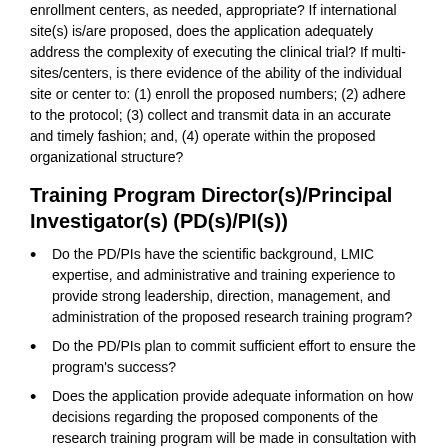enrollment centers, as needed, appropriate? If international site(s) is/are proposed, does the application adequately address the complexity of executing the clinical trial? If multi-sites/centers, is there evidence of the ability of the individual site or center to: (1) enroll the proposed numbers; (2) adhere to the protocol; (3) collect and transmit data in an accurate and timely fashion; and, (4) operate within the proposed organizational structure?
Training Program Director(s)/Principal Investigator(s) (PD(s)/PI(s))
Do the PD/PIs have the scientific background, LMIC expertise, and administrative and training experience to provide strong leadership, direction, management, and administration of the proposed research training program?
Do the PD/PIs plan to commit sufficient effort to ensure the program's success?
Does the application provide adequate information on how decisions regarding the proposed components of the research training program will be made in consultation with the proposed U.S. and LMIC faculty and Training Advisory Committee?
With regard to the proposed leadership for the training